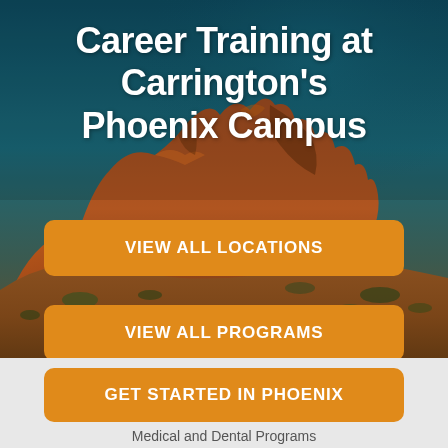[Figure (photo): Desert landscape with red rock formations (Papago Park / Phoenix area) against a deep teal/blue sky, serving as a hero background image]
Career Training at Carrington's Phoenix Campus
VIEW ALL LOCATIONS
VIEW ALL PROGRAMS
GET STARTED IN PHOENIX
Medical and Dental Programs